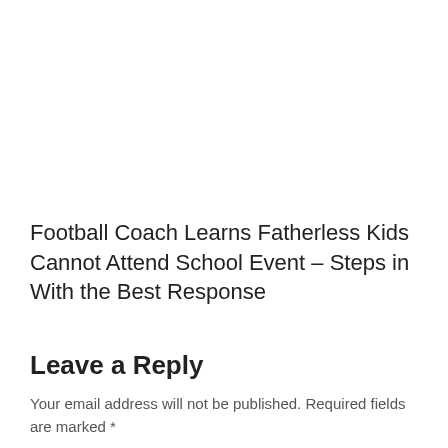Football Coach Learns Fatherless Kids Cannot Attend School Event – Steps in With the Best Response
Leave a Reply
Your email address will not be published. Required fields are marked *